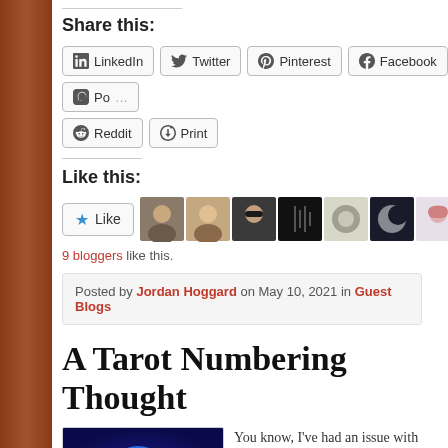Share this:
LinkedIn
Twitter
Pinterest
Facebook
Pocket
Reddit
Print
Like this:
9 bloggers like this.
Posted by Jordan Hoggard on May 10, 2021 in Guest Blogs
A Tarot Numbering Thought
You know, I've had an issue with Th… since I was seven years old. I guess… steep and let the cat out of the bag…